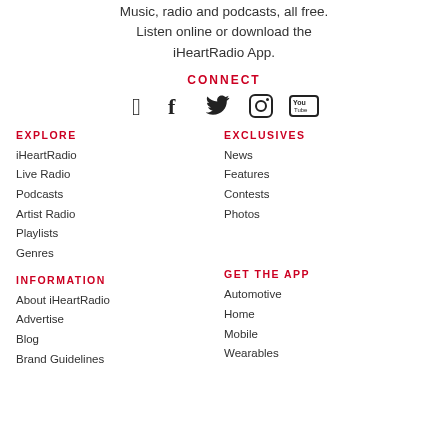Music, radio and podcasts, all free. Listen online or download the iHeartRadio App.
CONNECT
[Figure (illustration): Social media icons: Facebook, Twitter, Instagram, YouTube]
EXPLORE
iHeartRadio
Live Radio
Podcasts
Artist Radio
Playlists
Genres
EXCLUSIVES
News
Features
Contests
Photos
INFORMATION
About iHeartRadio
Advertise
Blog
Brand Guidelines
GET THE APP
Automotive
Home
Mobile
Wearables